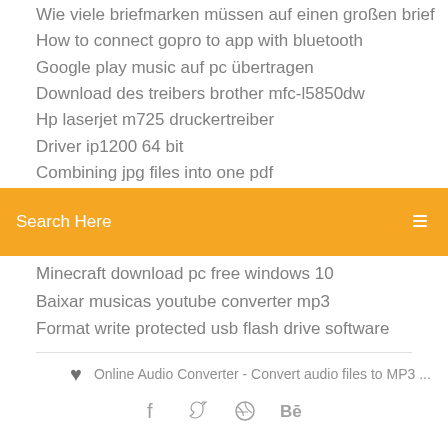Wie viele briefmarken müssen auf einen großen brief
How to connect gopro to app with bluetooth
Google play music auf pc übertragen
Download des treibers brother mfc-l5850dw
Hp laserjet m725 druckertreiber
Driver ip1200 64 bit
Combining jpg files into one pdf
[Figure (screenshot): Orange search bar with text 'Search Here' and a search icon on the right]
Minecraft download pc free windows 10
Baixar musicas youtube converter mp3
Format write protected usb flash drive software
Online Audio Converter - Convert audio files to MP3 ...
[Figure (other): Social media icons: facebook, twitter, dribbble, behance]